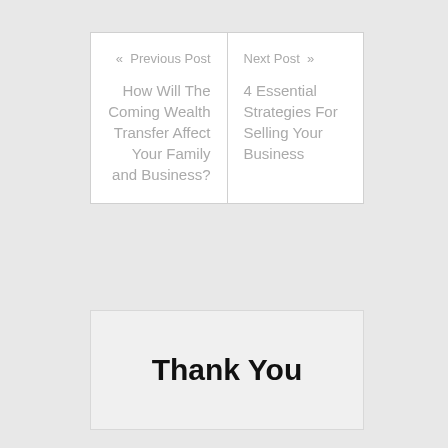« Previous Post
How Will The Coming Wealth Transfer Affect Your Family and Business?
Next Post »
4 Essential Strategies For Selling Your Business
Thank You